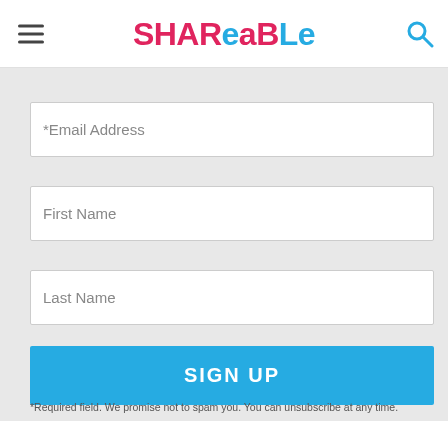SHAReaBLe
for the latest sharing news.
*Email Address
First Name
Last Name
SIGN UP
*Required field. We promise not to spam you. You can unsubscribe at any time.